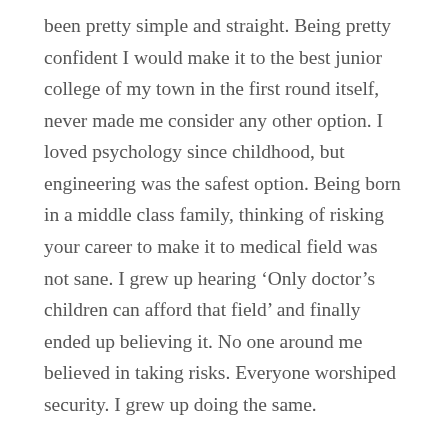been pretty simple and straight. Being pretty confident I would make it to the best junior college of my town in the first round itself, never made me consider any other option. I loved psychology since childhood, but engineering was the safest option. Being born in a middle class family, thinking of risking your career to make it to medical field was not sane. I grew up hearing ‘Only doctor’s children can afford that field’ and finally ended up believing it. No one around me believed in taking risks. Everyone worshiped security. I grew up doing the same.
‘Being in the top will only grant you a good life’ has been the mantra of my life. But at times, I wish I was an average student. I wish decisions would have not been so straightforward. Maybe I would have played cricket- the only thing I feel passionate about. Or